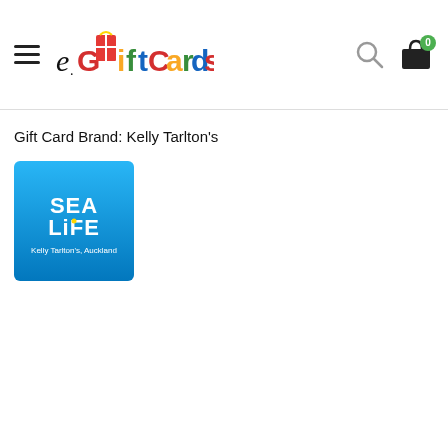eGiftCards — navigation header with hamburger menu, logo, search icon, and cart icon (0 items)
Gift Card Brand: Kelly Tarlton's
[Figure (logo): SEA LIFE Kelly Tarlton's Auckland logo — white text 'SEA LIFE' and 'Kelly Tarlton's Auckland' on a blue ocean-gradient background square]